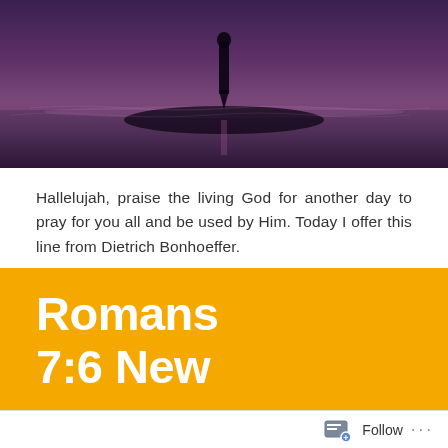[Figure (photo): Silhouette of a person standing on a reflective beach or water surface at dusk, with purple and mauve tones. A dark rock or landmass is visible in the foreground.]
Hallelujah, praise the living God for another day to pray for you all and be used by Him. Today I offer this line from Dietrich Bonhoeffer.
“Once a man has experienced the mercy of God in his life he will henceforth aspire only to serve.”
[Figure (other): Yellow/gold background banner showing the beginning of a Bible verse reference: Romans 7:6 New]
Follow ...